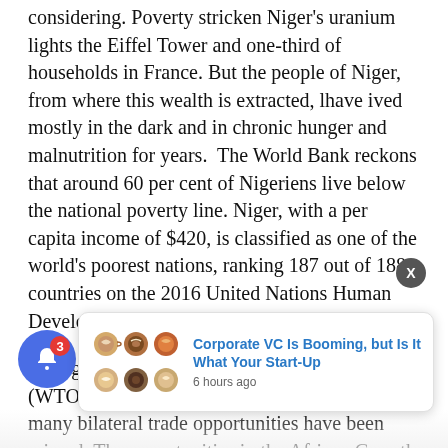considering. Poverty stricken Niger's uranium lights the Eiffel Tower and one-third of households in France. But the people of Niger, from where this wealth is extracted, lhave ived mostly in the dark and in chronic hunger and malnutrition for years.  The World Bank reckons that around 60 per cent of Nigeriens live below the national poverty line. Niger, with a per capita income of $420, is classified as one of the world's poorest nations, ranking 187 out of 188 countries on the 2016 United Nations Human Development Index.
On a global turf, the World Trade Organisation's (WTO) rules have not been strictly kept and many bilateral trade opportunities have been missed. The opportunities in the African Growth and Opportunities Act (AGOA) mid... been well utilise... conomic... AU...EU has been largely contentious with many African...
[Figure (other): A popup notification card showing coffee cup images on the left and text 'Corporate VC Is Booming, but Is It What Your Start-Up' with '6 hours ago' on the right. A blue circular notification bell with badge '3' overlays the bottom-left. A dark circular close button with 'X' appears at the top-right of the popup area.]